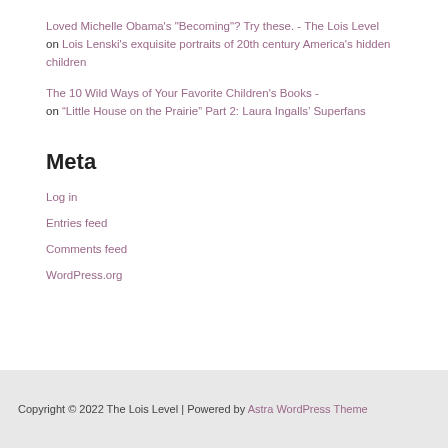Loved Michelle Obama's "Becoming"? Try these. - The Lois Level on Lois Lenski's exquisite portraits of 20th century America's hidden children
The 10 Wild Ways of Your Favorite Children's Books - on “Little House on the Prairie” Part 2: Laura Ingalls’ Superfans
Meta
Log in
Entries feed
Comments feed
WordPress.org
Copyright © 2022 The Lois Level | Powered by Astra WordPress Theme